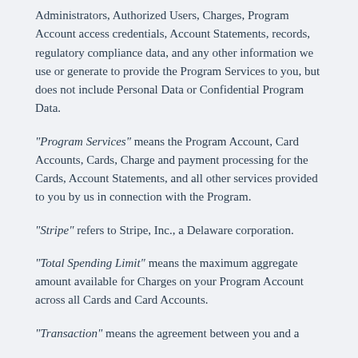Administrators, Authorized Users, Charges, Program Account access credentials, Account Statements, records, regulatory compliance data, and any other information we use or generate to provide the Program Services to you, but does not include Personal Data or Confidential Program Data.
"Program Services" means the Program Account, Card Accounts, Cards, Charge and payment processing for the Cards, Account Statements, and all other services provided to you by us in connection with the Program.
"Stripe" refers to Stripe, Inc., a Delaware corporation.
"Total Spending Limit" means the maximum aggregate amount available for Charges on your Program Account across all Cards and Card Accounts.
"Transaction" means the agreement between you and a